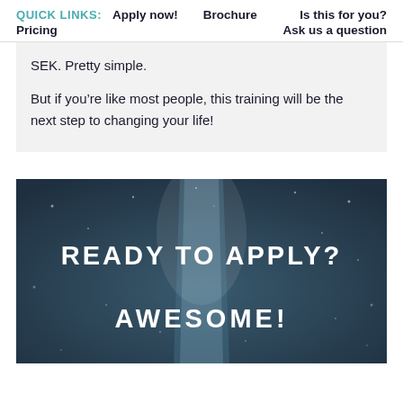QUICK LINKS: Apply now! Brochure Is this for you? Pricing Ask us a question
SEK. Pretty simple.
But if you’re like most people, this training will be the next step to changing your life!
[Figure (photo): Dark teal/slate background with a lit pathway or road vanishing into the distance with light dots suggesting stars or bokeh. Large white bold text reads 'READY TO APPLY?' and below it 'AWESOME!']